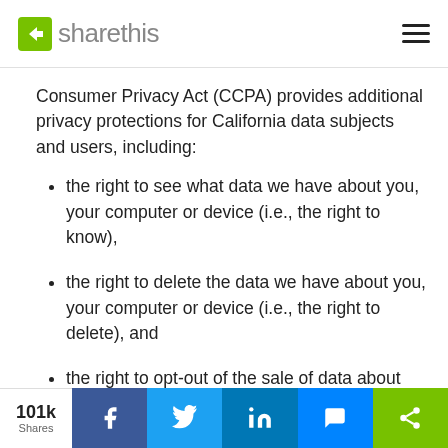sharethis
Consumer Privacy Act (CCPA) provides additional privacy protections for California data subjects and users, including:
the right to see what data we have about you, your computer or device (i.e., the right to know),
the right to delete the data we have about you, your computer or device (i.e., the right to delete), and
the right to opt-out of the sale of data about you, yo
101k Shares